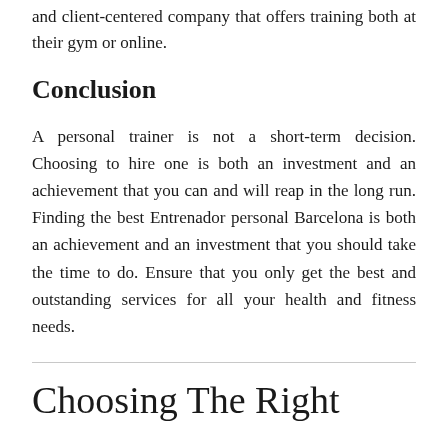and client-centered company that offers training both at their gym or online.
Conclusion
A personal trainer is not a short-term decision. Choosing to hire one is both an investment and an achievement that you can and will reap in the long run. Finding the best Entrenador personal Barcelona is both an achievement and an investment that you should take the time to do. Ensure that you only get the best and outstanding services for all your health and fitness needs.
Choosing The Right